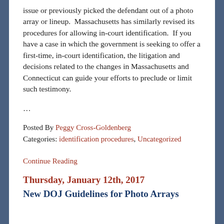issue or previously picked the defendant out of a photo array or lineup. Massachusetts has similarly revised its procedures for allowing in-court identification. If you have a case in which the government is seeking to offer a first-time, in-court identification, the litigation and decisions related to the changes in Massachusetts and Connecticut can guide your efforts to preclude or limit such testimony.
...
Posted By Peggy Cross-Goldenberg
Categories: identification procedures, Uncategorized
Continue Reading
Thursday, January 12th, 2017
New DOJ Guidelines for Photo Arrays